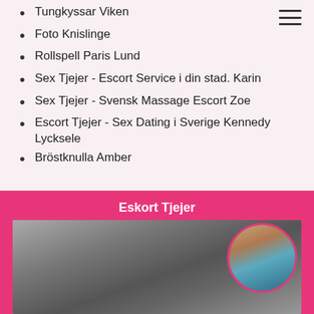Tungkyssar Viken
Foto Knislinge
Rollspell Paris Lund
Sex Tjejer - Escort Service i din stad. Karin
Sex Tjejer - Svensk Massage Escort Zoe
Escort Tjejer - Sex Dating i Sverige Kennedy Lycksele
Bröstknulla Amber
Eskort Tjejer
[Figure (photo): Black and white photo of a woman on the left, and a circular color photo of a woman in teal top and denim shorts on the right, against a pink background.]